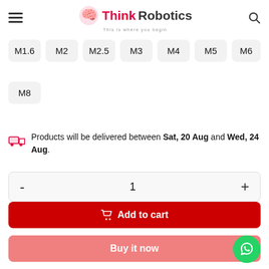ThinkRobotics — This is where you begin
M1.6
M2
M2.5
M3
M4
M5
M6
M8
Products will be delivered between Sat, 20 Aug and Wed, 24 Aug.
1
Add to cart
Buy it now